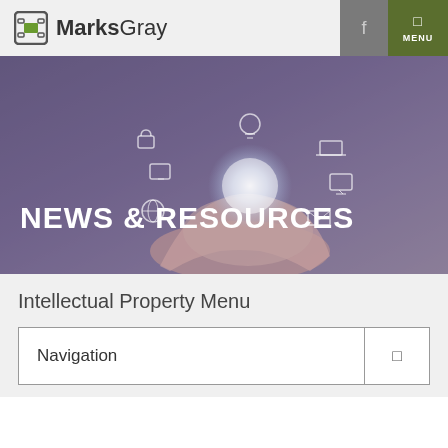MarksGray — MENU
[Figure (photo): Hero banner showing a hand holding a glowing orb with digital icons (lock, tablet, bulb, laptop, globe, mail) floating above it, overlaid with large white bold text 'NEWS & RESOURCES']
NEWS & RESOURCES
Intellectual Property Menu
| Navigation |  |
| --- | --- |
| Navigation | ▢ |